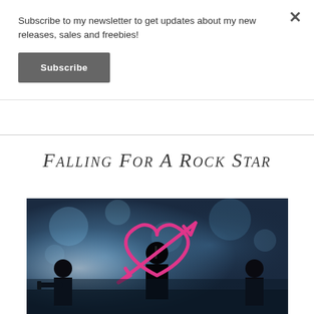Subscribe to my newsletter to get updates about my new releases, sales and freebies!
Subscribe
Falling For A Rock Star
[Figure (photo): Book cover image showing silhouettes of band members on stage with blue bokeh background, and a pink heart with arrow logo overlay]